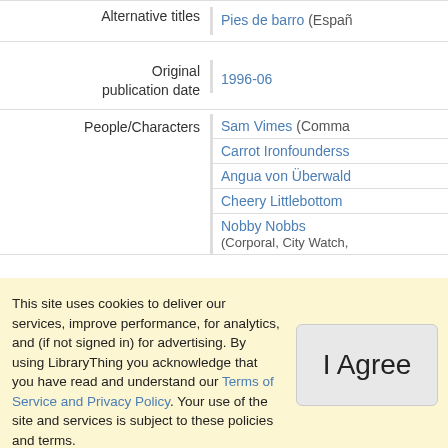Alternative titles: Pies de barro (Españ…
Original publication date: 1996-06
People/Characters: Sam Vimes (Comma…), Carrot Ironfounderss…, Angua von Überwald…, Cheery Littlebottom …, Nobby Nobbs (Corporal, City Watch,…)
This site uses cookies to deliver our services, improve performance, for analytics, and (if not signed in) for advertising. By using LibraryThing you acknowledge that you have read and understand our Terms of Service and Privacy Policy. Your use of the site and services is subject to these policies and terms.
I Agree